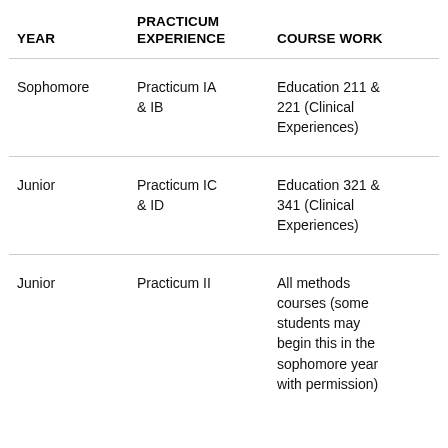| YEAR | PRACTICUM EXPERIENCE | COURSE WORK |
| --- | --- | --- |
| Sophomore | Practicum IA & IB | Education 211 & 221 (Clinical Experiences) |
| Junior | Practicum IC & ID | Education 321 & 341 (Clinical Experiences) |
| Junior | Practicum II | All methods courses (some students may begin this in the sophomore year with permission) |